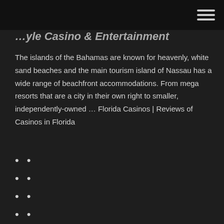[navigation bar with hamburger menu]
[partial title - cropped at top]
The islands of the Bahamas are known for heavenly, white sand beaches and the main tourism island of Nassau has a wide range of beachfront accommodations. From mega resorts that are a city in their own right to smaller, independently-owned … Florida Casinos | Reviews of Casinos in Florida
Tioga downs casino pay